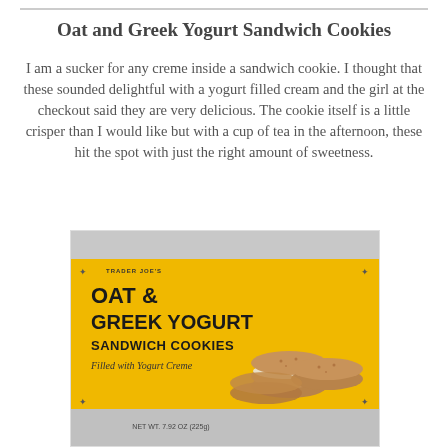Oat and Greek Yogurt Sandwich Cookies
I am a sucker for any creme inside a sandwich cookie. I thought that these sounded delightful with a yogurt filled cream and the girl at the checkout said they are very delicious. The cookie itself is a little crisper than I would like but with a cup of tea in the afternoon, these hit the spot with just the right amount of sweetness.
[Figure (photo): Photo of a Trader Joe's Oat & Greek Yogurt Sandwich Cookies box. Yellow packaging with dark bold text reading 'Trader Joe's OAT & GREEK YOGURT SANDWICH COOKIES Filled with Yogurt Creme' and net weight 7.92 oz (225g). Cookies are shown stacked on the right side of the box.]